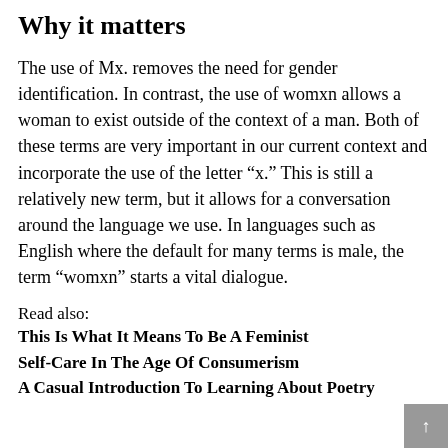Why it matters
The use of Mx. removes the need for gender identification. In contrast, the use of womxn allows a woman to exist outside of the context of a man. Both of these terms are very important in our current context and incorporate the use of the letter “x.” This is still a relatively new term, but it allows for a conversation around the language we use. In languages such as English where the default for many terms is male, the term “womxn” starts a vital dialogue.
Read also:
This Is What It Means To Be A Feminist
Self-Care In The Age Of Consumerism
A Casual Introduction To Learning About Poetry